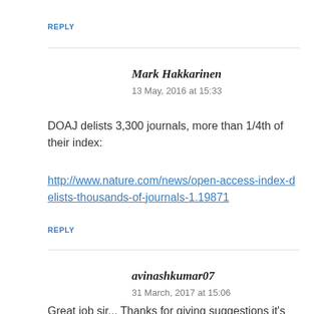REPLY
Mark Hakkarinen
13 May, 2016 at 15:33
DOAJ delists 3,300 journals, more than 1/4th of their index:
http://www.nature.com/news/open-access-index-delists-thousands-of-journals-1.19871
REPLY
avinashkumar07
31 March, 2017 at 15:06
Great job sir... Thanks for giving suggestions it's very